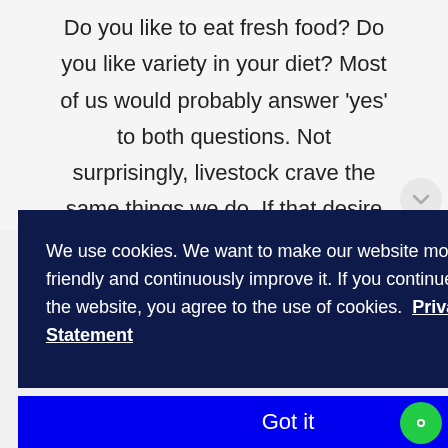Do you like to eat fresh food? Do you like variety in your diet? Most of us would probably answer 'yes' to both questions. Not surprisingly, livestock crave the same things we do. If that desire is not met, then we get less than optimal livestock performance.
We use cookies. We want to make our website more user-friendly and continuously improve it. If you continue to use the website, you agree to the use of cookies.  Privacy Statement
Got it